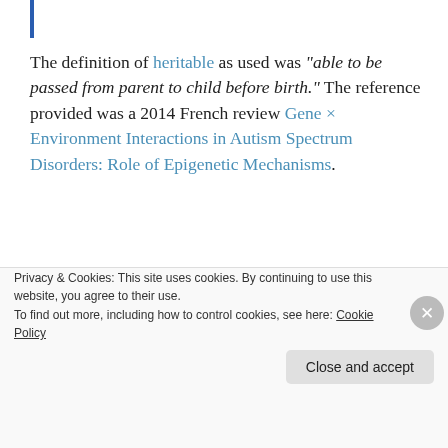The definition of heritable as used was "able to be passed from parent to child before birth." The reference provided was a 2014 French review Gene × Environment Interactions in Autism Spectrum Disorders: Role of Epigenetic Mechanisms.
I didn't see the "known to be heritable" phrase mentioned in the referenced review. However, I also didn't see anything stated in the review or
Privacy & Cookies: This site uses cookies. By continuing to use this website, you agree to their use.
To find out more, including how to control cookies, see here: Cookie Policy
Close and accept